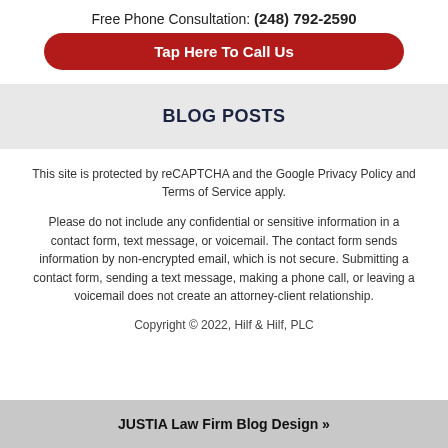Free Phone Consultation: (248) 792-2590
Tap Here To Call Us
BLOG POSTS
This site is protected by reCAPTCHA and the Google Privacy Policy and Terms of Service apply.
Please do not include any confidential or sensitive information in a contact form, text message, or voicemail. The contact form sends information by non-encrypted email, which is not secure. Submitting a contact form, sending a text message, making a phone call, or leaving a voicemail does not create an attorney-client relationship.
Copyright © 2022, Hilf & Hilf, PLC
JUSTIA Law Firm Blog Design »